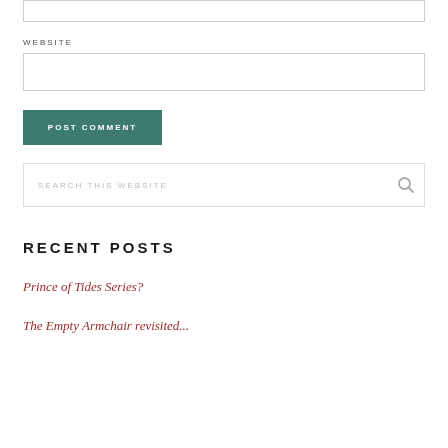WEBSITE
POST COMMENT
SEARCH THIS WEBSITE
RECENT POSTS
Prince of Tides Series?
The Empty Armchair revisited...